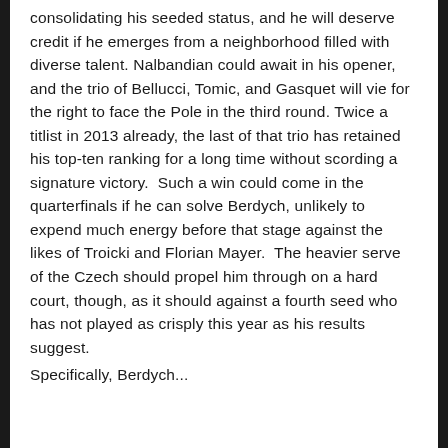consolidating his seeded status, and he will deserve credit if he emerges from a neighborhood filled with diverse talent. Nalbandian could await in his opener, and the trio of Bellucci, Tomic, and Gasquet will vie for the right to face the Pole in the third round. Twice a titlist in 2013 already, the last of that trio has retained his top-ten ranking for a long time without scording a signature victory.  Such a win could come in the quarterfinals if he can solve Berdych, unlikely to expend much energy before that stage against the likes of Troicki and Florian Mayer.  The heavier serve of the Czech should propel him through on a hard court, though, as it should against a fourth seed who has not played as crisply this year as his results suggest.
Specifically, Berdych...